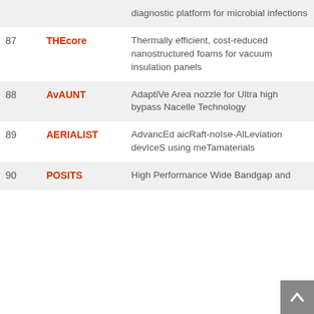| # | Project | Description |
| --- | --- | --- |
|  |  | diagnostic platform for microbial infections |
| 87 | THEcore | Thermally efficient, cost-reduced nanostructured foams for vacuum insulation panels |
| 88 | AvAUNT | AdaptiVe Area nozzle for Ultra high bypass Nacelle Technology |
| 89 | AERIALIST | AdvancEd aicRaft-noIse-AlLeviation devIceS using meTamaterials |
| 90 | POSITS | High Performance Wide Bandgap and... |